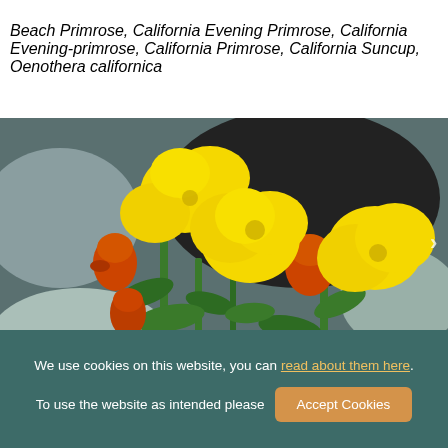Beach Primrose, California Evening Primrose, California Evening-primrose, California Primrose, California Suncup, Oenothera californica
[Figure (photo): Close-up photograph of California Evening Primrose (Oenothera californica) showing yellow flowers and orange-red buds on green stems with a blurred rocky background.]
We use cookies on this website, you can read about them here. To use the website as intended please Accept Cookies